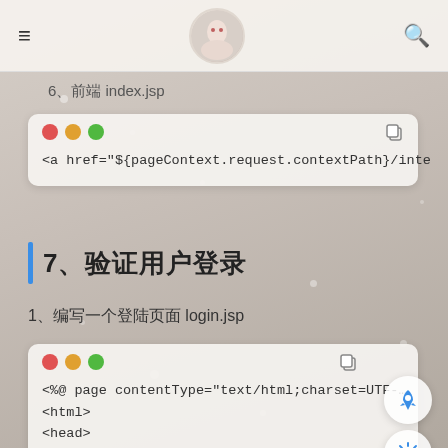≡  [avatar]  🔍
6、前端 index.jsp
[Figure (screenshot): Code block showing: <a href="${pageContext.request.contextPath}/inte with traffic light window controls (red, yellow, green) and a copy icon]
7、验证用户登录
1、编写一个登陆页面 login.jsp
[Figure (screenshot): Code block showing JSP code: <%@ page contentType="text/html;charset=UTF-... <html> <head> <title>Title</title> </head>  <h1>用户登录</h1> <hr> with traffic light window controls]